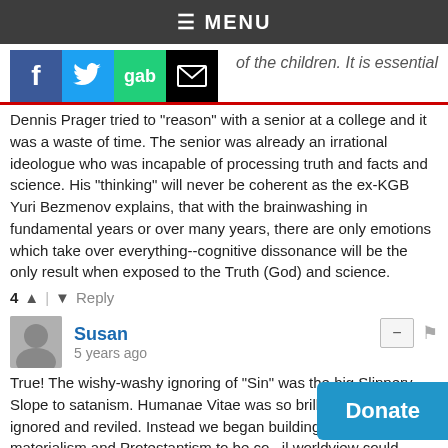≡ MENU
[Figure (screenshot): Social sharing icons: Facebook (blue), Twitter (light blue), Gab (green), Email (black envelope), with partial text 'of the children. It is essential']
Dennis Prager tried to "reason" with a senior at a college and it was a waste of time. The senior was already an irrational ideologue who was incapable of processing truth and facts and science. His "thinking" will never be coherent as the ex-KGB Yuri Bezmenov explains, that with the brainwashing in fundamental years or over many years, there are only emotions which take over everything--cognitive dissonance will be the only result when exposed to the Truth (God) and science.
4 ^ | v Reply
Susan
5 years ago
True! The wishy-washy ignoring of "Sin" was the big Slippery Slope to satanism. Humanae Vitae was so brilliant and it was ignored and reviled. Instead we began building "bridges" to materialism and Protestantism to be co... il worldview could infiltrate into the pews ...e